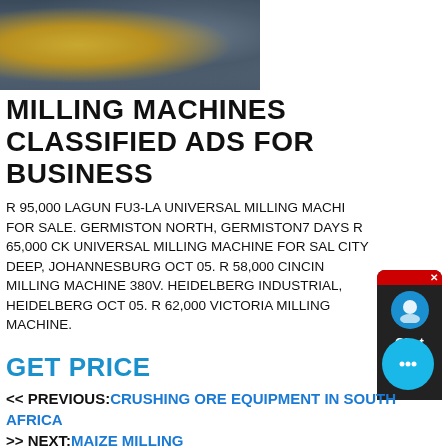[Figure (photo): Photo of industrial milling machine equipment with yellow and grey machinery parts]
MILLING MACHINES CLASSIFIED ADS FOR BUSINESS
R 95,000 LAGUN FU3-LA UNIVERSAL MILLING MACHINE FOR SALE. GERMISTON NORTH, GERMISTON7 DAYS R 65,000 CK UNIVERSAL MILLING MACHINE FOR SALE. CITY DEEP, JOHANNESBURG OCT 05. R 58,000 CINCINNATI MILLING MACHINE 380V. HEIDELBERG INDUSTRIAL, HEIDELBERG OCT 05. R 62,000 VICTORIA MILLING MACHINE.
GET PRICE
<< PREVIOUS:CRUSHING ORE EQUIPMENT IN SOUTH AFRICA >> NEXT:MAIZE MILLING